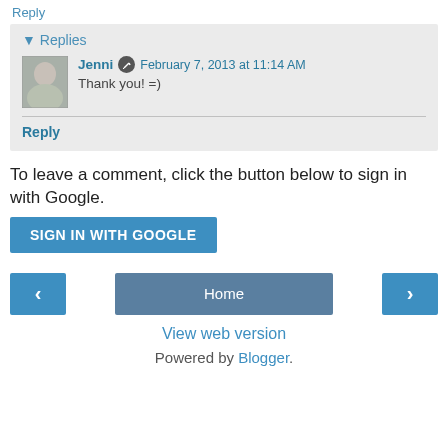Reply
▾ Replies
Jenni   February 7, 2013 at 11:14 AM
Thank you! =)
Reply
To leave a comment, click the button below to sign in with Google.
SIGN IN WITH GOOGLE
‹
Home
›
View web version
Powered by Blogger.